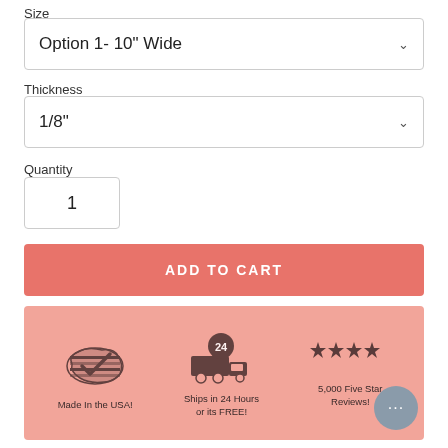Size
Option 1- 10" Wide
Thickness
1/8"
Quantity
1
ADD TO CART
[Figure (infographic): Info bar with three icons on salmon background: USA map with checkmark labeled 'Made In the USA!', delivery truck with 24 hours label 'Ships in 24 Hours or its FREE!', four stars labeled '5,000 Five Star Reviews!']
Made In the USA!
Ships in 24 Hours or its FREE!
5,000 Five Star Reviews!